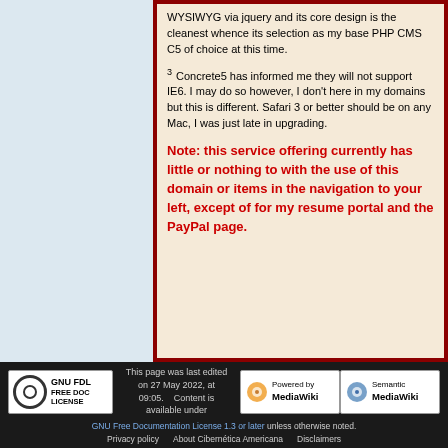WYSIWYG via jquery and its core design is the cleanest whence its selection as my base PHP CMS C5 of choice at this time.
3  Concrete5 has informed me they will not support IE6. I may do so however, I don't here in my domains but this is different. Safari 3 or better should be on any Mac, I was just late in upgrading.
Note: this service offering currently has little or nothing to with the use of this domain or items in the navigation to your left, except of for my resume portal and the PayPal page.
This page was last edited on 27 May 2022, at 09:05. Content is available under GNU Free Documentation License 1.3 or later unless otherwise noted. Privacy policy  About Cibernética Americana  Disclaimers